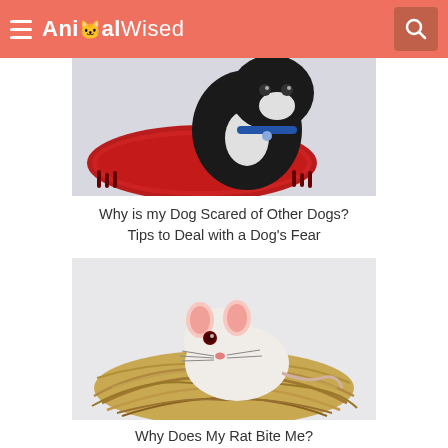AnimalWised
[Figure (photo): Black and white dog sitting on red decorative pillow against white background]
Why is my Dog Scared of Other Dogs? Tips to Deal with a Dog's Fear
[Figure (photo): White rat sitting in a woven straw nest against white background]
Why Does My Rat Bite Me?
[Figure (photo): Partial view of animal-themed item at bottom of page]